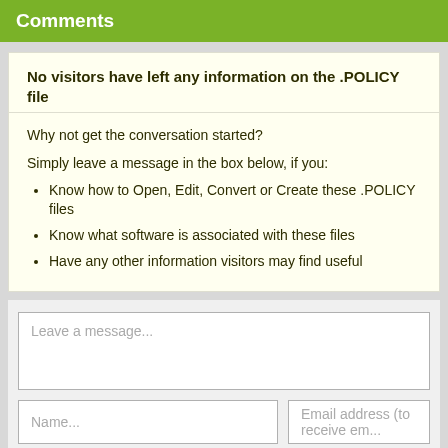Comments
No visitors have left any information on the .POLICY file
Why not get the conversation started?
Simply leave a message in the box below, if you:
Know how to Open, Edit, Convert or Create these .POLICY files
Know what software is associated with these files
Have any other information visitors may find useful
Leave a message...
Name...
Email address (to receive em...